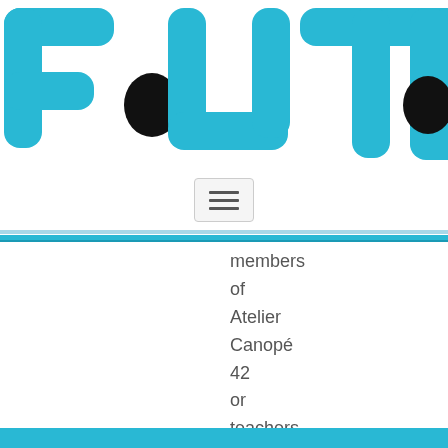[Figure (logo): FUTC logo in large cyan/turquoise block letters with black dot accents, partially cropped on right side]
[Figure (screenshot): Hamburger menu button (three horizontal lines) in a rounded rectangle border]
members of Atelier Canopé 42 or teachers :
[Figure (other): Cyan/blue horizontal divider stripe at bottom of page]